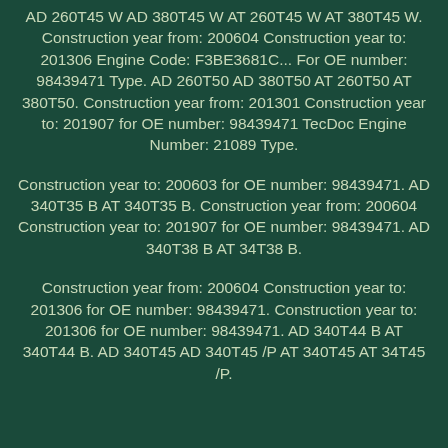AD 260T45 W AD 380T45 W AT 260T45 W AT 380T45 W. Construction year from: 200604 Construction year to: 201306 Engine Code: F3BE3681C... For OE number: 98439471 Type. AD 260T50 AD 380T50 AT 260T50 AT 380T50. Construction year from: 201301 Construction year to: 201907 for OE number: 98439471 TecDoc Engine Number: 21089 Type.
Construction year to: 200603 for OE number: 98439471. AD 340T35 B AT 340T35 B. Construction year from: 200604 Construction year to: 201907 for OE number: 98439471. AD 340T38 B AT 34T38 B.
Construction year from: 200604 Construction year to: 201306 for OE number: 98439471. Construction year to: 201306 for OE number: 98439471. AD 340T44 B AT 340T44 B. AD 340T45 AD 340T45 /P AT 340T45 AT 34T45 /P.